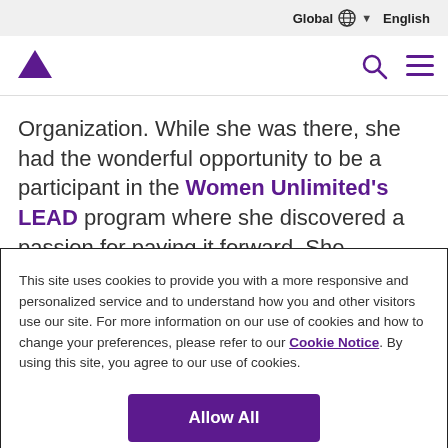Global English
[Figure (logo): Vertex logo with purple triangle and VERTEX wordmark with purple underline, plus search and hamburger menu icons]
Organization. While she was there, she had the wonderful opportunity to be a participant in the Women Unlimited's LEAD program where she discovered a passion for paying it forward. She
This site uses cookies to provide you with a more responsive and personalized service and to understand how you and other visitors use our site. For more information on our use of cookies and how to change your preferences, please refer to our Cookie Notice. By using this site, you agree to our use of cookies.
Allow All